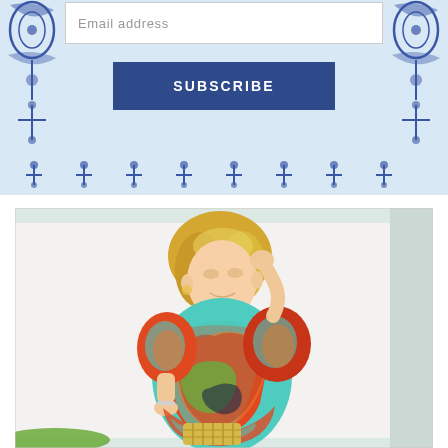[Figure (screenshot): Email subscription widget with light blue background, decorative blue ikat/tile border motifs on left and right sides, a white email address input field at top, a dark navy SUBSCRIBE button in center, and a row of small blue cross/anchor motifs along the bottom edge.]
[Figure (photo): Fashion photo of a blonde woman smiling, wearing a colorful paisley puff-sleeve mini dress in red, orange, green, blue and teal tones, holding a woven clutch purse, standing in front of a white wall with a strip of green grass visible at the bottom left.]